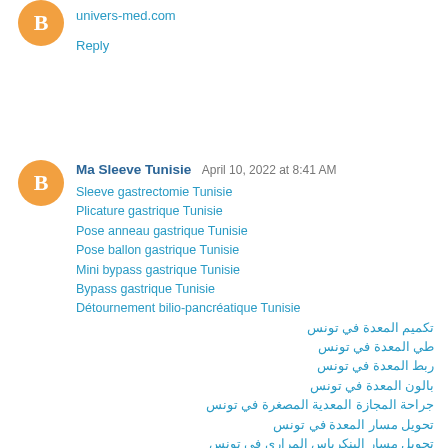univers-med.com
Reply
Ma Sleeve Tunisie  April 10, 2022 at 8:41 AM
Sleeve gastrectomie Tunisie
Plicature gastrique Tunisie
Pose anneau gastrique Tunisie
Pose ballon gastrique Tunisie
Mini bypass gastrique Tunisie
Bypass gastrique Tunisie
Détournement bilio-pancréatique Tunisie
تكميم المعدة في تونس
طي المعدة في تونس
ربط المعدة في تونس
بالون المعدة في تونس
جراحة المجازة المعدية المصغرة في تونس
تحويل مسار المعدة في تونس
تحويل مسار البنكرياس المراري في تونس
Sleeve gastrectomy in Tunisia
Gatsric plication in Tunisia
Gastric band installation in Tunisia
Gastric balloon pose in Tunisia
Mini gastric bypass in Tunisia
Gastric bypass in Tunisia